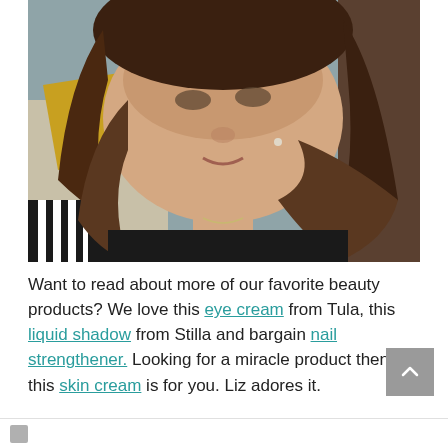[Figure (photo): Selfie photo of a smiling woman with long brown wavy hair, wearing a black top, seated near a yellow/gold pillow and striped fabric, grey-blue wall background]
Want to read about more of our favorite beauty products? We love this eye cream from Tula, this liquid shadow from Stilla and bargain nail strengthener. Looking for a miracle product then this skin cream is for you. Liz adores it.